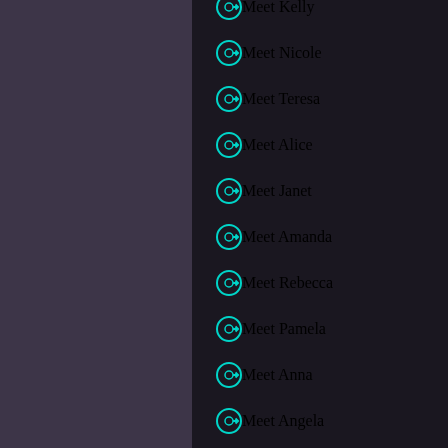Meet Kelly
Meet Nicole
Meet Teresa
Meet Alice
Meet Janet
Meet Amanda
Meet Rebecca
Meet Pamela
Meet Anna
Meet Angela
Meet Karen
Meet Maria
Meet Susan
Meet Helen
Meet Lisa